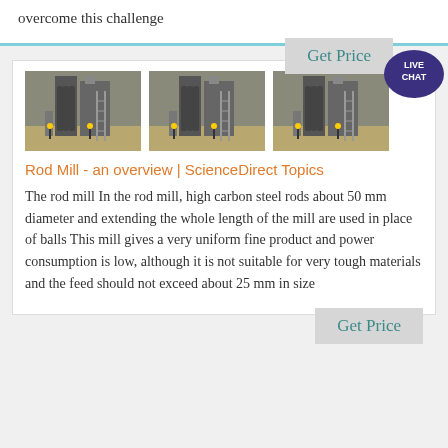overcome this challenge
[Figure (other): Get Price button with light gray background and teal text]
[Figure (other): Live Chat speech bubble icon in dark blue/purple with white text]
[Figure (photo): Three identical photos of an industrial rod mill installation with workers and metal structures outdoors]
Rod Mill - an overview | ScienceDirect Topics
The rod mill In the rod mill, high carbon steel rods about 50 mm diameter and extending the whole length of the mill are used in place of balls This mill gives a very uniform fine product and power consumption is low, although it is not suitable for very tough materials and the feed should not exceed about 25 mm in size
[Figure (other): Get Price button with light gray background and teal text]